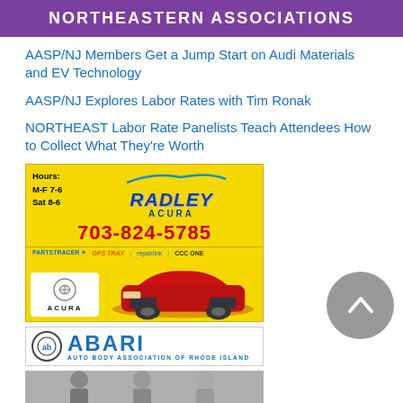NORTHEASTERN ASSOCIATIONS
AASP/NJ Members Get a Jump Start on Audi Materials and EV Technology
AASP/NJ Explores Labor Rates with Tim Ronak
NORTHEAST Labor Rate Panelists Teach Attendees How to Collect What They're Worth
[Figure (photo): Radley Acura advertisement with yellow background, phone number 703-824-5785, hours M-F 7-6 Sat 8-6, partner logos (PARTSTRACER, OPS TRAX, repairlink, CCC ONE), and Acura car image]
[Figure (logo): ABARI - Auto Body Association of Rhode Island logo with blue text and circle logo]
[Figure (photo): Partial photo of people at bottom of page]